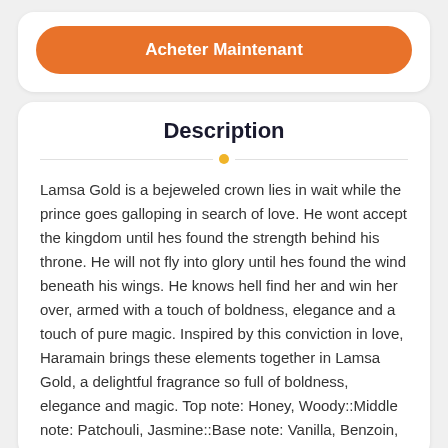Acheter Maintenant
Description
Lamsa Gold is a bejeweled crown lies in wait while the prince goes galloping in search of love. He wont accept the kingdom until hes found the strength behind his throne. He will not fly into glory until hes found the wind beneath his wings. He knows hell find her and win her over, armed with a touch of boldness, elegance and a touch of pure magic. Inspired by this conviction in love, Haramain brings these elements together in Lamsa Gold, a delightful fragrance so full of boldness, elegance and magic. Top note: Honey, Woody::Middle note: Patchouli, Jasmine::Base note: Vanilla, Benzoin,